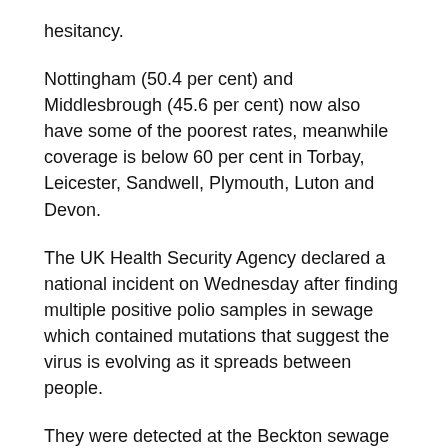hesitancy.
Nottingham (50.4 per cent) and Middlesbrough (45.6 per cent) now also have some of the poorest rates, meanwhile coverage is below 60 per cent in Torbay, Leicester, Sandwell, Plymouth, Luton and Devon.
The UK Health Security Agency declared a national incident on Wednesday after finding multiple positive polio samples in sewage which contained mutations that suggest the virus is evolving as it spreads between people.
They were detected at the Beckton sewage treatment works, which covers a population of four million in north and east London.
It is not clear how far the virus has spread but health experts